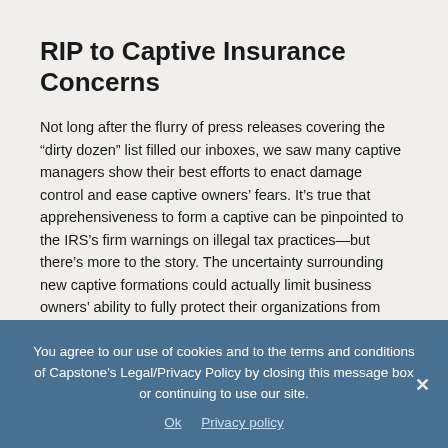RIP to Captive Insurance Concerns
Not long after the flurry of press releases covering the “dirty dozen” list filled our inboxes, we saw many captive managers show their best efforts to enact damage control and ease captive owners’ fears. It’s true that apprehensiveness to form a captive can be pinpointed to the IRS’s firm warnings on illegal tax practices—but there’s more to the story. The uncertainty surrounding new captive formations could actually limit business owners’ ability to fully protect their organizations from potential risks. Fear of an audit can stifle the powerful business planning benefits of a captive, not seen with other structures, including 401ks, mutual funds, and mortgage-backed securities.  The irony here is that many captive managers and even some financial institutions cannot fully support captive owners in the tax and legal aspects of compliance. In this regard, the apprehensions are warranted. Although
You agree to our use of cookies and to the terms and conditions of Capstone’s Legal/Privacy Policy by closing this message box or continuing to use our site.
Ok   Privacy policy